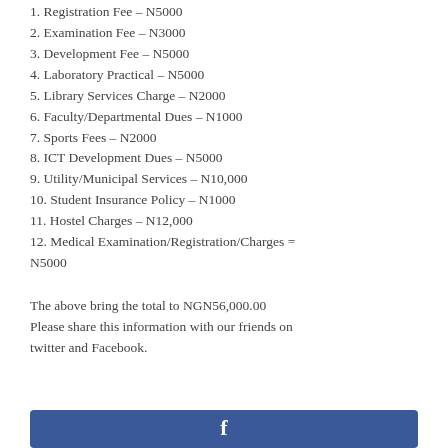1. Registration Fee – N5000
2. Examination Fee – N3000
3. Development Fee – N5000
4. Laboratory Practical – N5000
5. Library Services Charge – N2000
6. Faculty/Departmental Dues – N1000
7. Sports Fees – N2000
8. ICT Development Dues – N5000
9. Utility/Municipal Services – N10,000
10. Student Insurance Policy – N1000
11. Hostel Charges – N12,000
12. Medical Examination/Registration/Charges = N5000
The above bring the total to NGN56,000.00 Please share this information with our friends on twitter and Facebook.
[Figure (logo): Facebook logo bar in blue with white 'f' icon]